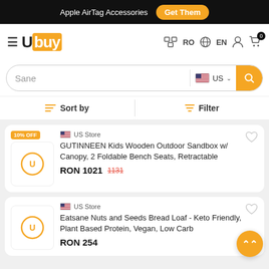Apple AirTag Accessories  Get Them
[Figure (logo): Ubuy logo with hamburger menu icon]
[Figure (screenshot): Search bar with text 'Sane', US flag country selector, and search button]
Sort by   Filter
10% OFF  US Store  GUTINNEEN Kids Wooden Outdoor Sandbox w/ Canopy, 2 Foldable Bench Seats, Retractable  RON 1021  1131
US Store  Eatsane Nuts and Seeds Bread Loaf - Keto Friendly, Plant Based Protein, Vegan, Low Carb  RON 254